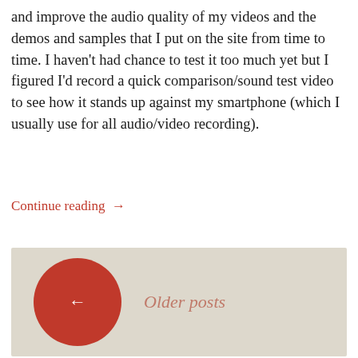and improve the audio quality of my videos and the demos and samples that I put on the site from time to time. I haven't had chance to test it too much yet but I figured I'd record a quick comparison/sound test video to see how it stands up against my smartphone (which I usually use for all audio/video recording).
Continue reading →
[Figure (other): Navigation element with a red circle containing a left arrow (←) and 'Older posts' label text in italic on a beige/tan background.]